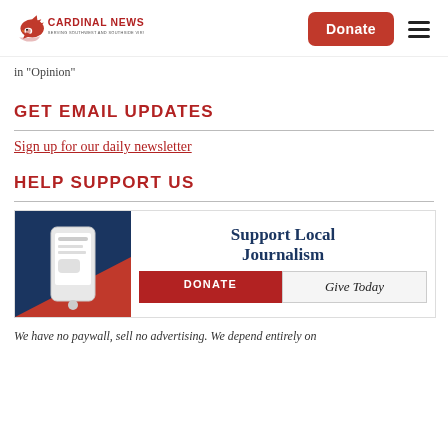Cardinal News | Donate button | Menu
in "Opinion"
GET EMAIL UPDATES
Sign up for our daily newsletter
HELP SUPPORT US
[Figure (infographic): Support Local Journalism banner with phone graphic, DONATE button, and Give Today button]
We have no paywall, sell no advertising. We depend entirely on